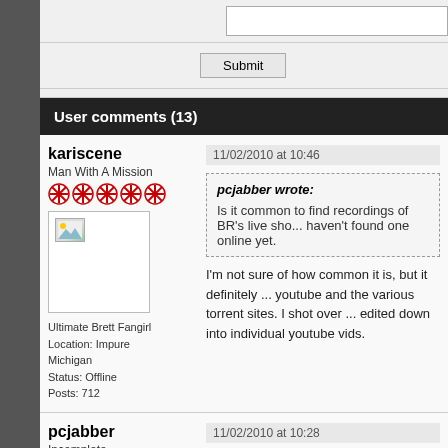[Submit button area with text input]
User comments (13)
kariscene
Man With A Mission
Ultimate Brett Fangirl
Location: Impure Michigan
Status: Offline
Posts: 712
11/02/2010 at 10:46
pcjabber wrote:
Is it common to find recordings of BR's live sho... haven't found one online yet.
I'm not sure of how common it is, but it definitely ... youtube and the various torrent sites. I shot over ... edited down into individual youtube vids.
pcjabber
Incomplete
11/02/2010 at 10:28
Ghost of Humanity wrote: